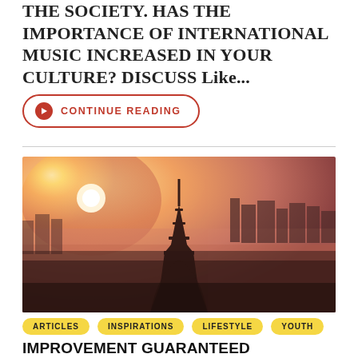THE SOCIETY. HAS THE IMPORTANCE OF INTERNATIONAL MUSIC INCREASED IN YOUR CULTURE? DISCUSS Like...
CONTINUE READING
[Figure (photo): Aerial sunset view of Paris with the Eiffel Tower silhouetted against a warm orange and pink sky, city skyline in the background with misty haze.]
ARTICLES  INSPIRATIONS  LIFESTYLE  YOUTH
IMPROVEMENT GUARANTEED